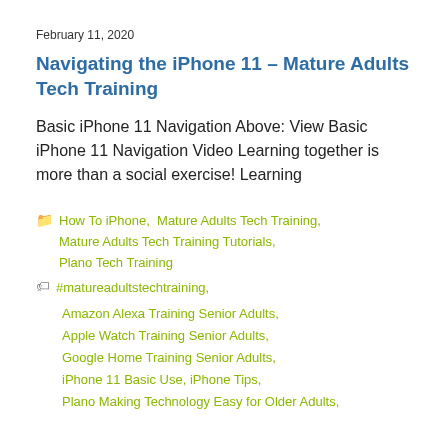February 11, 2020
Navigating the iPhone 11 – Mature Adults Tech Training
Basic iPhone 11 Navigation Above: View Basic iPhone 11 Navigation Video Learning together is more than a social exercise! Learning
How To iPhone, Mature Adults Tech Training, Mature Adults Tech Training Tutorials, Plano Tech Training
#matureadultstechtraining, Amazon Alexa Training Senior Adults, Apple Watch Training Senior Adults, Google Home Training Senior Adults, iPhone 11 Basic Use, iPhone Tips, Plano Making Technology Easy for Older Adults,